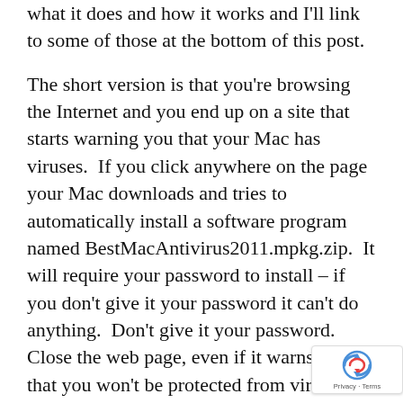what it does and how it works and I'll link to some of those at the bottom of this post.
The short version is that you're browsing the Internet and you end up on a site that starts warning you that your Mac has viruses.  If you click anywhere on the page your Mac downloads and tries to automatically install a software program named BestMacAntivirus2011.mpkg.zip.  It will require your password to install – if you don't give it your password it can't do anything.  Don't give it your password.  Close the web page, even if it warns you that you won't be protected from viruses.
At this point, Safari is automatically blocking